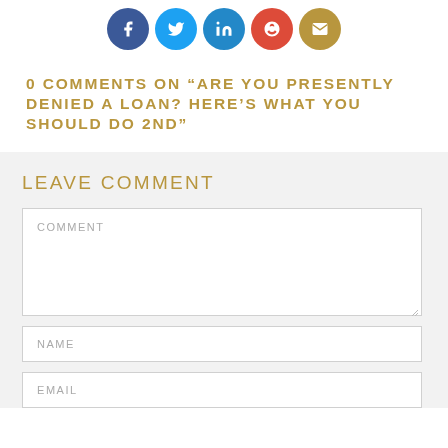[Figure (infographic): Row of five social media icon circles: Facebook (dark blue), Twitter (light blue), LinkedIn (blue), Google+ (red), Email (gold)]
0 COMMENTS ON “ARE YOU PRESENTLY DENIED A LOAN? HERE’S WHAT YOU SHOULD DO 2ND”
LEAVE COMMENT
COMMENT
NAME
EMAIL